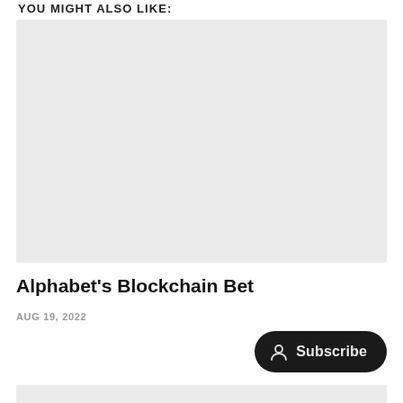YOU MIGHT ALSO LIKE:
[Figure (photo): Light gray placeholder image rectangle for an article thumbnail]
Alphabet's Blockchain Bet
AUG 19, 2022
[Figure (other): Subscribe button with person/user icon on dark rounded pill background]